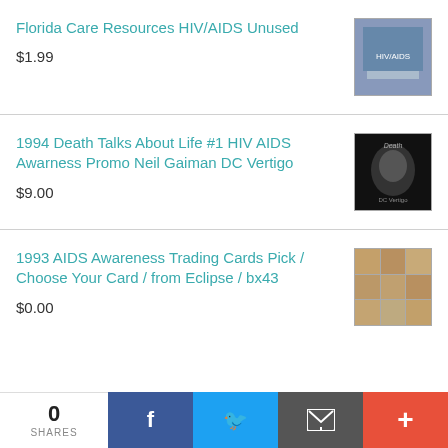Florida Care Resources HIV/AIDS Unused
$1.99
1994 Death Talks About Life #1 HIV AIDS Awarness Promo Neil Gaiman DC Vertigo
$9.00
1993 AIDS Awareness Trading Cards Pick / Choose Your Card / from Eclipse / bx43
$0.00